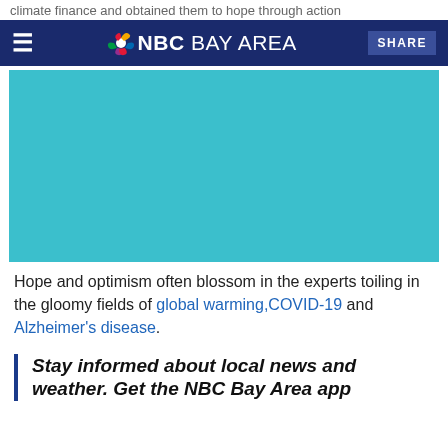climate finance and obtained them to hope through action
NBC BAY AREA | SHARE
[Figure (photo): Teal/turquoise colored rectangular placeholder image area]
Hope and optimism often blossom in the experts toiling in the gloomy fields of global warming, COVID-19 and Alzheimer's disease.
Stay informed about local news and weather. Get the NBC Bay Area app